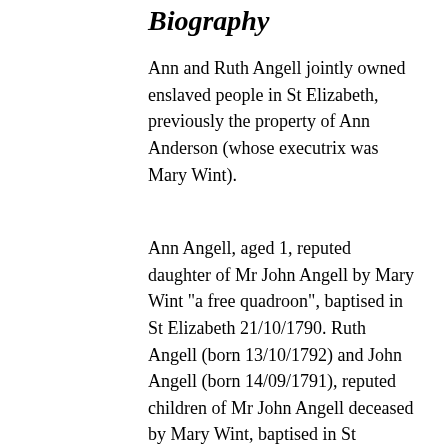Biography
Ann and Ruth Angell jointly owned enslaved people in St Elizabeth, previously the property of Ann Anderson (whose executrix was Mary Wint).
Ann Angell, aged 1, reputed daughter of Mr John Angell by Mary Wint "a free quadroon", baptised in St Elizabeth 21/10/1790. Ruth Angell (born 13/10/1792) and John Angell (born 14/09/1791), reputed children of Mr John Angell deceased by Mary Wint, baptised in St Elizabeth 24/10/1796. John Angell died in 1793 or 1794 and bequeathed £1000 sterling to his children by Mary Wint (Ann, John and Ruth) and willed that they should receive Bray's River after the death of Mary Wint.